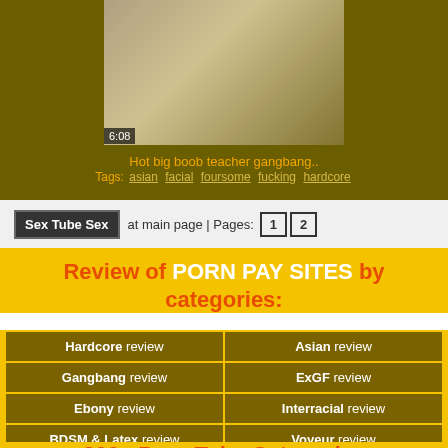[Figure (photo): Video thumbnail showing adult content with duration overlay 6:08]
Hot big boob teacher gangbang..
Tags: asian facial foursome fucking hardcore
Sex Tube Sex at main page | Pages: 1 2
Review of PORN PAY SITES by categories:
| Left | Right |
| --- | --- |
| Hardcore review | Asian review |
| Gangbang review | ExGF review |
| Ebony review | Interracial review |
| BDSM & Latex review | Voyeur review |
200+ Porn Tube Categories